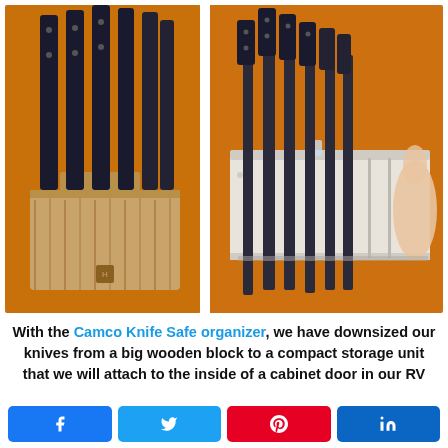[Figure (photo): Two side-by-side photos: left shows a wooden knife block with black-handled knives (Zwilling brand) against an orange wall; right shows a white Camco Knife Safe organizer holding black-handled knives against an orange wall, held by a hand.]
With the Camco Knife Safe organizer, we have downsized our knives from a big wooden block to a compact storage unit that we will attach to the inside of a cabinet door in our RV
[Figure (infographic): Row of four social share buttons: Facebook (blue), Twitter (light blue), Pinterest (red), LinkedIn (dark blue)]